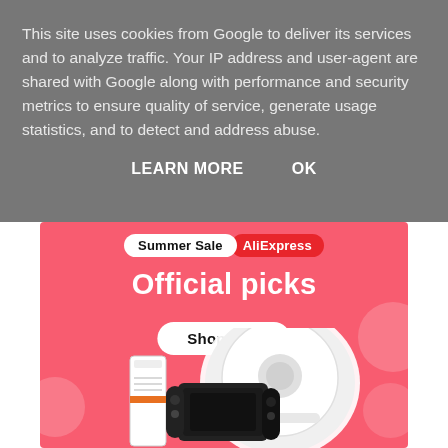This site uses cookies from Google to deliver its services and to analyze traffic. Your IP address and user-agent are shared with Google along with performance and security metrics to ensure quality of service, generate usage statistics, and to detect and address abuse.
LEARN MORE    OK
[Figure (infographic): AliExpress Summer Sale advertisement banner with pink/coral background. Shows 'Summer Sale' badge and 'AliExpress' red logo badge at top. Large bold white text reads 'Official picks'. White 'Shop now' rounded button below. Bottom shows product images: a white robot vacuum cleaner, a gaming console (Nintendo Switch-style), and a tall speaker/phone device with orange stripe. Decorative translucent pink circles in corners.]